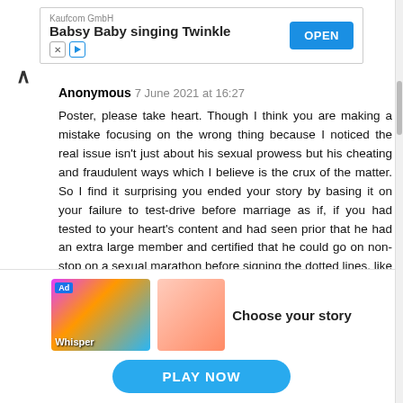[Figure (screenshot): Top advertisement banner: Kaufcom GmbH - Babsy Baby singing Twinkle, with OPEN button]
Anonymous 7 June 2021 at 16:27
Poster, please take heart. Though I think you are making a mistake focusing on the wrong thing because I noticed the real issue isn't just about his sexual prowess but his cheating and fraudulent ways which I believe is the crux of the matter. So I find it surprising you ended your story by basing it on your failure to test-drive before marriage as if, if you had tested to your heart's content and had seen prior that he had an extra large member and certified that he could go on non-stop on a sexual marathon before signing the dotted lines, like that would have made your marriage
[Figure (screenshot): Bottom advertisement: Choose your story - PLAY NOW button]